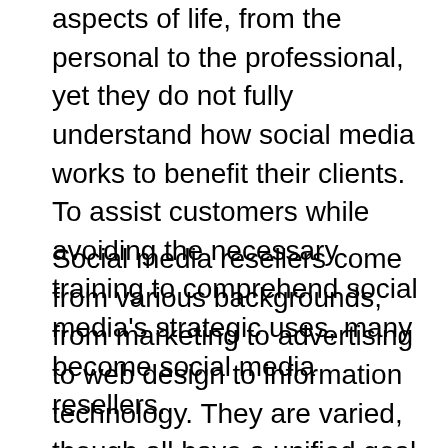aspects of life, from the personal to the professional, yet they do not fully understand how social media works to benefit their clients. To assist customers while avoiding the necessary training to comprehend social media's strategic uses, many become social media resellers.
Social media resellers come from various backgrounds, from marketing to advertising to web design to information technology. They are varied, though all have a unified goal of getting assistance for their clients with respect to social media. They realize this tool is better left in the hands of dedicated and educated professionals who work on social media each and every single day.